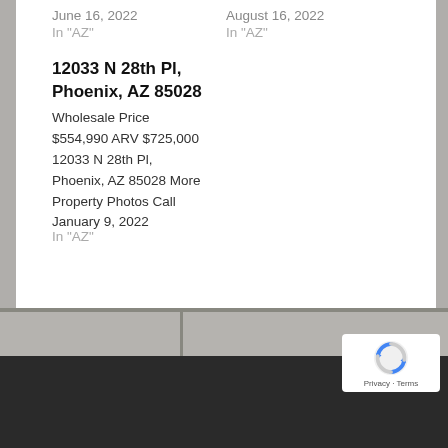June 16, 2022
In "AZ"
August 16, 2022
In "AZ"
12033 N 28th Pl, Phoenix, AZ 85028
Wholesale Price $554,990 ARV $725,000 12033 N 28th Pl, Phoenix, AZ 85028 More Property Photos Call
January 9, 2022
In "AZ"
[Figure (logo): reCAPTCHA badge with rotating arrows logo and Privacy - Terms text]